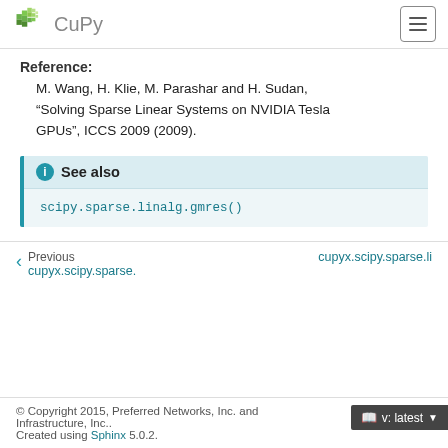CuPy
Reference:
M. Wang, H. Klie, M. Parashar and H. Sudan, “Solving Sparse Linear Systems on NVIDIA Tesla GPUs”, ICCS 2009 (2009).
See also
scipy.sparse.linalg.gmres()
Previous cupyx.scipy.sparse.
cupyx.scipy.sparse.li
© Copyright 2015, Preferred Networks, Inc. and Infrastructure, Inc.. Created using Sphinx 5.0.2.